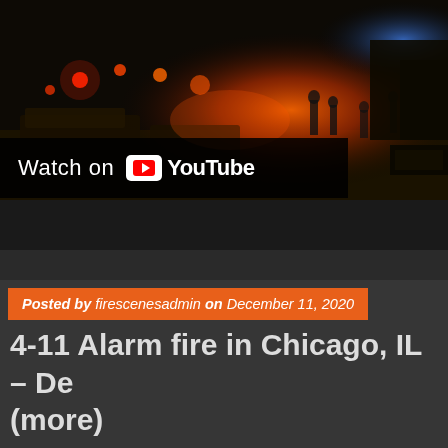[Figure (screenshot): YouTube video thumbnail showing nighttime fire scene with emergency vehicles and lights, with 'Watch on YouTube' overlay button]
Posted by firescenesadmin on December 11, 2020
4-11 Alarm fire in Chicago, IL – Dec (more)
Posted in: Fire Scene Video, NEW. Tagged: 4-11 Alarm fire in Chicago 12-10, chicagoareafire.com, fire scene video, FireScenes.NET, massive warehouse Comment
[Figure (screenshot): YouTube video thumbnail showing fire scene with green avatar circle containing letter S and title 'Chicago 4-11 Alarm 16th & Kostner']